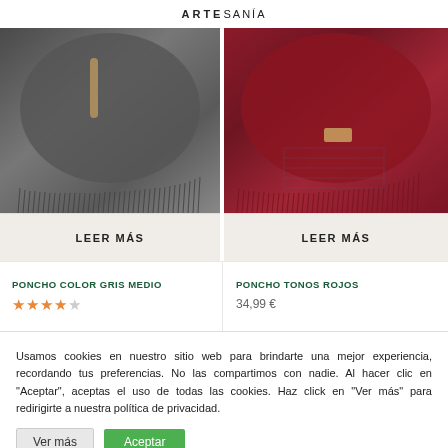ARTE ARTESANÍA
[Figure (photo): Dark gray/black wool poncho with fringe, worn on a mannequin or model - product photo]
LEER MÁS
[Figure (photo): Dark red/burgundy wool poncho with fringe and a small brand tag, worn on a model - product photo]
LEER MÁS
PONCHO COLOR GRIS MEDIO
★★★★☆
PONCHO TONOS ROJOS
34,99 €
Usamos cookies en nuestro sitio web para brindarte una mejor experiencia, recordando tus preferencias. No las compartimos con nadie. Al hacer clic en "Aceptar", aceptas el uso de todas las cookies. Haz click en "Ver más" para redirigirte a nuestra política de privacidad.
Ver más
Aceptar